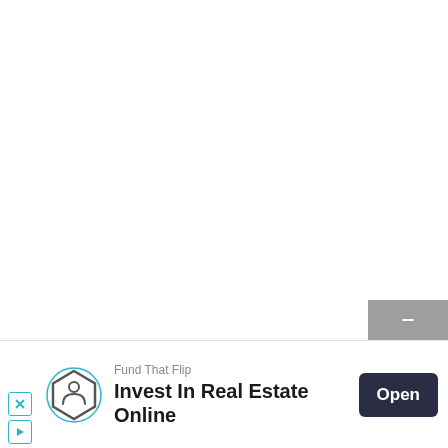[Figure (other): Advertisement banner for 'Fund That Flip' — Invest In Real Estate Online. Contains a hexagonal logo with a stylized F/face icon, ad label text, headline, and an 'Open' call-to-action button. Also includes small X and play/arrow control icons on the left side, and a gray dismiss button in the upper right of the ad area.]